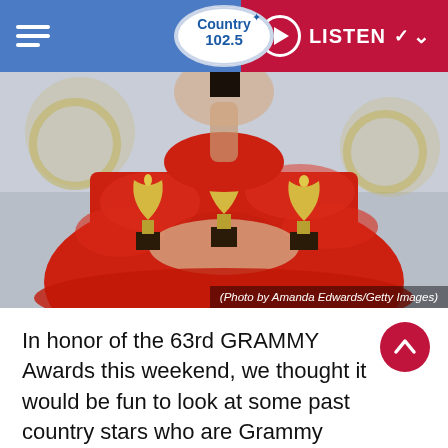Country 102.5 | LISTEN
[Figure (photo): Person in red dress holding multiple Grammy Award trophies, Grammy logos visible in background]
(Photo by Amanda Edwards/Getty Images)
In honor of the 63rd GRAMMY Awards this weekend, we thought it would be fun to look at some past country stars who are Grammy winners.